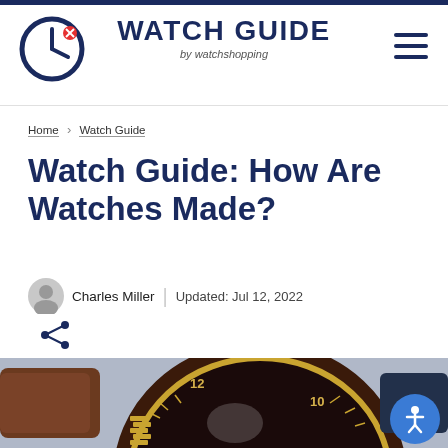WATCH GUIDE by watchshopping
Home > Watch Guide
Watch Guide: How Are Watches Made?
Charles Miller | Updated: Jul 12, 2022
[Figure (photo): Close-up photograph of a luxury watch with gold/bronze case, dark brown rotating bezel with minute markings, brown leather strap, and a dark dial, photographed from an angle.]